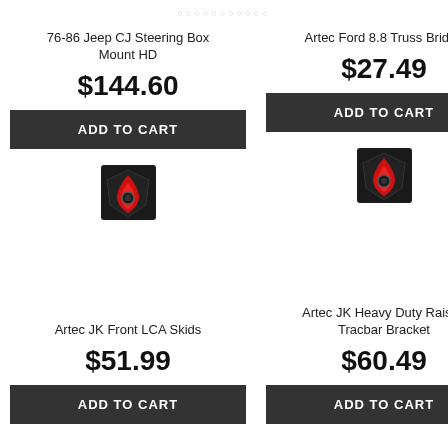76-86 Jeep CJ Steering Box Mount HD
$144.60
ADD TO CART
Artec Ford 8.8 Truss Bridge
$27.49
ADD TO CART
[Figure (logo): Artec Industries logo — red flame/shield icon on dark background]
[Figure (logo): Artec Industries logo — red flame/shield icon on dark background]
Artec JK Front LCA Skids
$51.99
ADD TO CART
Artec JK Heavy Duty Raised Tracbar Bracket
$60.49
ADD TO CART